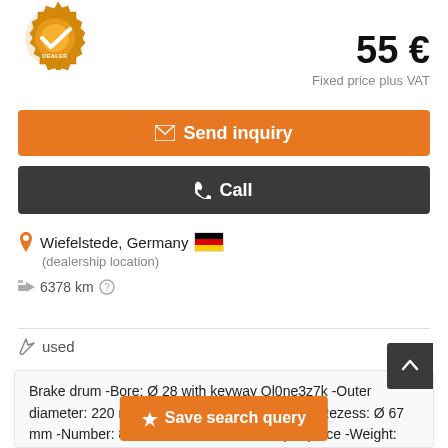[Figure (logo): Dealer badge/logo with checkmark and gear shape in orange/gold]
55 €
Fixed price plus VAT
✉ Send inquiry
✆ Call
Wiefelstede, Germany 🇩🇪
(dealership location)
6378 km
used
Brake drum -Bore: Ø 28 with keyway Ql0ne3z7k -Outer diameter: 220 mm -Interior diameter: 200 mm -Rezess: Ø 67 mm -Number: 8x drums available -Price: per piece -Weight: 21.5 kg/piece
✈ Save search query